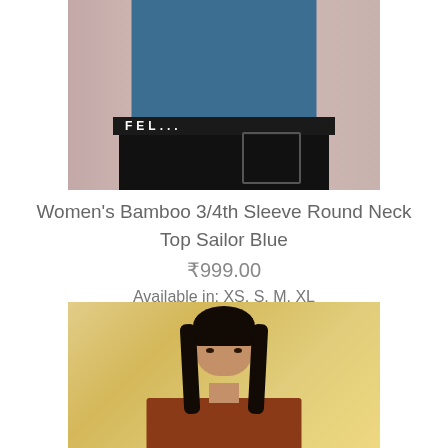[Figure (photo): Cropped photo of a female model wearing a blue 3/4 sleeve round neck top and black pants/leggings with a branded waistband, against a pinkish-beige background]
Women's Bamboo 3/4th Sleeve Round Neck Top Sailor Blue
₹999.00
Available in: XS, S, M, XL
[Figure (photo): Photo of a female model with long dark hair, looking directly at the camera, wearing a rust/terracotta colored top, against a warm golden-yellow background]